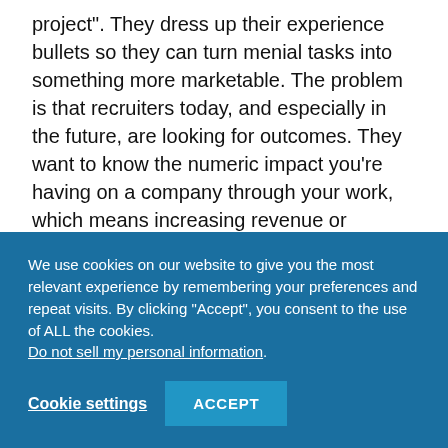project". They dress up their experience bullets so they can turn menial tasks into something more marketable. The problem is that recruiters today, and especially in the future, are looking for outcomes. They want to know the numeric impact you’re having on a company through your work, which means increasing revenue or decreasing costs. Always think about measuring your projects and keeping track of the results because that’s what’s going to help you justify promotions.
We use cookies on our website to give you the most relevant experience by remembering your preferences and repeat visits. By clicking “Accept”, you consent to the use of ALL the cookies. Do not sell my personal information.
Cookie settings | ACCEPT